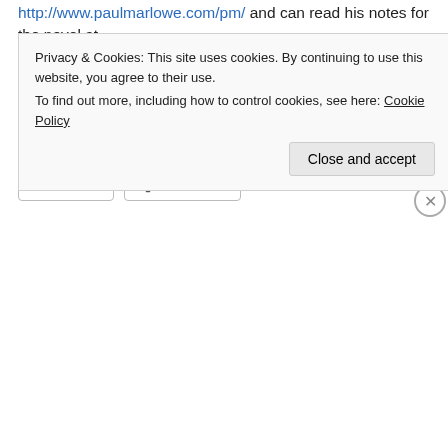http://www.paulmarlowe.com/pm/ and can read his notes for the novel at http://www.paulmarlowe.com/pm/KnightsoftheSea-notes.htm . You can pick up a copy of Knights of the Sea at http://www.sybertooth.ca/publishing/knightsofthesea.htm
Share this:
Twitter  Facebook
Privacy & Cookies: This site uses cookies. By continuing to use this website, you agree to their use.
To find out more, including how to control cookies, see here: Cookie Policy
Close and accept